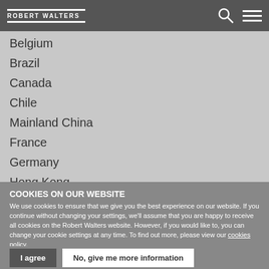Robert Walters
Belgium
Brazil
Canada
Chile
Mainland China
France
Germany
Hong Kong
Indonesia
Ireland
COOKIES ON OUR WEBSITE
We use cookies to ensure that we give you the best experience on our website. If you continue without changing your settings, we'll assume that you are happy to receive all cookies on the Robert Walters website. However, if you would like to, you can change your cookie settings at any time. To find out more, please view our cookies policy.
I agree
No, give me more information